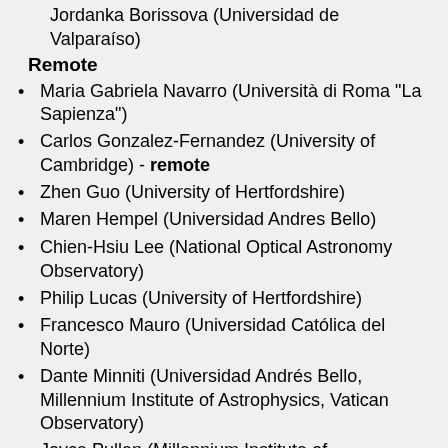Jordanka Borissova (Universidad de Valparaíso)
Remote
Maria Gabriela Navarro (Università di Roma "La Sapienza")
Carlos Gonzalez-Fernandez (University of Cambridge) - remote
Zhen Guo (University of Hertfordshire)
Maren Hempel (Universidad Andres Bello)
Chien-Hsiu Lee (National Optical Astronomy Observatory)
Philip Lucas (University of Hertfordshire)
Francesco Mauro (Universidad Católica del Norte)
Dante Minniti (Universidad Andrés Bello, Millennium Institute of Astrophysics, Vatican Observatory)
Joyce Pullen (Millennium Institute of Astrophysics)
Karla Peña Ramírez (Universidad de Antofagasta)
Sebastián Ramírez Alegría (Universidad de Antofagasta)